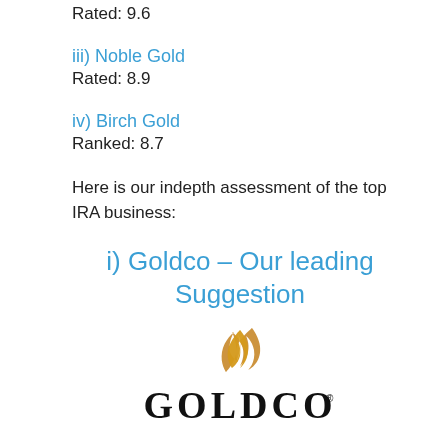Rated: 9.6
iii) Noble Gold
Rated: 8.9
iv) Birch Gold
Ranked: 8.7
Here is our indepth assessment of the top IRA business:
i) Goldco – Our leading Suggestion
[Figure (logo): Goldco logo with golden flame graphic above bold black GOLDCO text with registered trademark symbol]